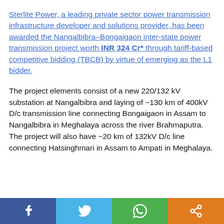Sterlite Power, a leading private sector power transmission infrastructure developer and solutions provider, has been awarded the Nangalbibra–Bongaigaon inter-state power transmission project worth INR 324 Cr* through tariff-based competitive bidding (TBCB) by virtue of emerging as the L1 bidder.
The project elements consist of a new 220/132 kV substation at Nangalbibra and laying of ~130 km of 400kV D/c transmission line connecting Bongaigaon in Assam to Nangalbibra in Meghalaya across the river Brahmaputra. The project will also have ~20 km of 132kV D/c line connecting Hatsinghmari in Assam to Ampati in Meghalaya.